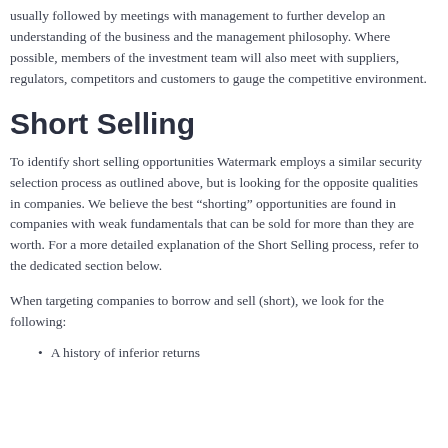usually followed by meetings with management to further develop an understanding of the business and the management philosophy. Where possible, members of the investment team will also meet with suppliers, regulators, competitors and customers to gauge the competitive environment.
Short Selling
To identify short selling opportunities Watermark employs a similar security selection process as outlined above, but is looking for the opposite qualities in companies. We believe the best “shorting” opportunities are found in companies with weak fundamentals that can be sold for more than they are worth. For a more detailed explanation of the Short Selling process, refer to the dedicated section below.
When targeting companies to borrow and sell (short), we look for the following:
A history of inferior returns